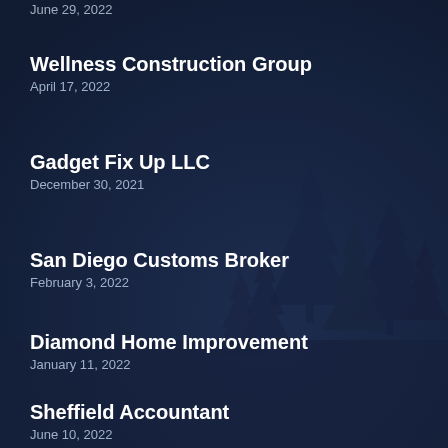June 29, 2022
Wellness Construction Group
April 17, 2022
Gadget Fix Up LLC
December 30, 2021
San Diego Customs Broker
February 3, 2022
Diamond Home Improvement
January 11, 2022
Sheffield Accountant
June 10, 2022